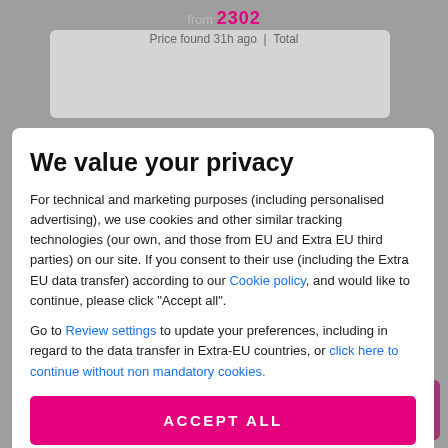from 2302 | Price found 31h ago | Total
We value your privacy
For technical and marketing purposes (including personalised advertising), we use cookies and other similar tracking technologies (our own, and those from EU and Extra EU third parties) on our site. If you consent to their use (including the Extra EU data transfer) according to our Cookie policy, and would like to continue, please click "Accept all".
Go to Review settings to update your preferences, including in regard to the data transfer in Extra-EU countries, or click here to continue without non mandatory cookies.
ACCEPT ALL
Good to know
from
Select room type